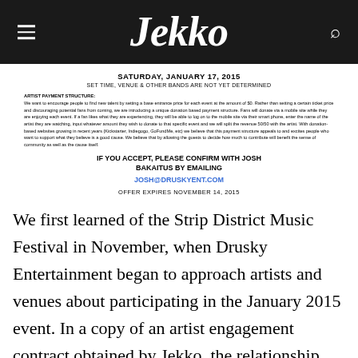Jekko
SATURDAY, JANUARY 17, 2015
SET TIME, VENUE & OTHER BANDS ARE NOT YET DETERMINED
ARTIST PAYMENT STRUCTURE:
We want to encourage people to find new talent by setting a base entrance price for each event at the amount of $0. Rather than setting a certain ticket price and discouraging potential fans from coming, we are introducing a unique donation based payment structure. Fans will donate via a mobile site while they are enjoying each event. If a fan likes what they are experiencing, they will be able to log on to the mobile site via their smart phone, enter the name of the artist they are watching, input whatever amount they wish to donate to that specific event and we will split the revenue 50/50 with the artist. With donation-based websites growing in recent years (Kickstarter, Indiegogo, GoFundMe, etc) we believe that this payment structure appeals to and excites people who want to support what they believe is a good cause. We believe that by allowing the guests to decide how much to contribute will benefit the sense of community as well as the cause itself.
IF YOU ACCEPT, PLEASE CONFIRM WITH JOSH BAKAITUS BY EMAILING
JOSH@DRUSKYENT.COM
OFFER EXPIRES NOVEMBER 14, 2015
We first learned of the Strip District Music Festival in November, when Drusky Entertainment began to approach artists and venues about participating in the January 2015 event. In a copy of an artist engagement contract obtained by Jekko, the relationship between Drusky Entertainment and the festival is unmistakable. The company identifies itself as a "presenting sponsor" alongside City Paper. Later in the contract, Drusky Entertainment refers to itself as the